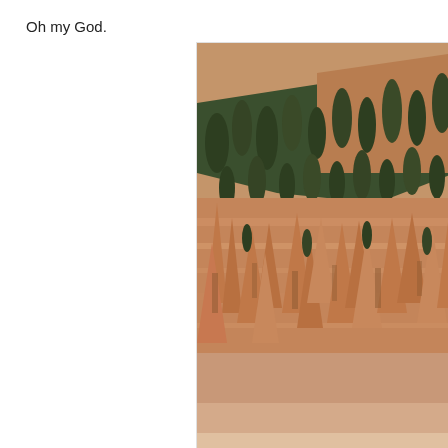Oh my God.
[Figure (photo): A photo of Bryce Canyon hoodoos and rock formations with pine trees on steep orange and tan sandstone slopes, partially cropped on the right edge of the page.]